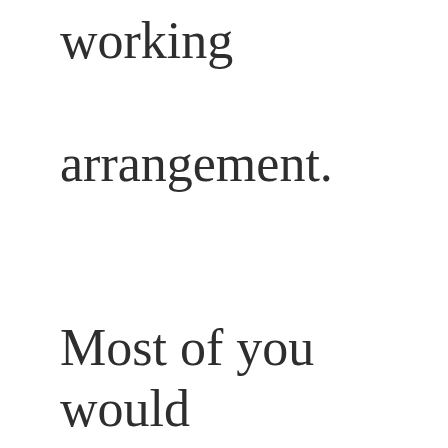working arrangement.

Most of you would have heard of financial leverage, for example buying